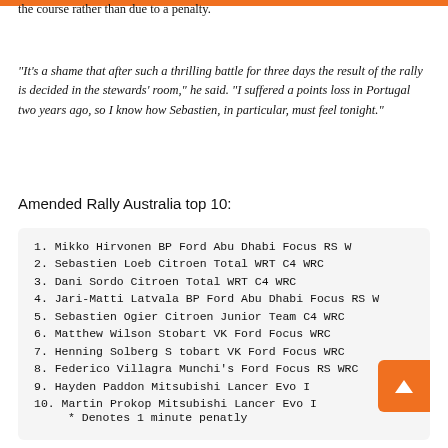the course rather than due to a penalty.
“It’s a shame that after such a thrilling battle for three days the result of the rally is decided in the stewards’ room,” he said. “I suffered a points loss in Portugal two years ago, so I know how Sebastien, in particular, must feel tonight.”
Amended Rally Australia top 10:
1.  Mikko Hirvonen       BP Ford Abu Dhabi Focus RS W
2.  Sebastien Loeb       Citroen Total WRT C4 WRC
3.  Dani Sordo           Citroen Total WRT C4 WRC
4.  Jari-Matti Latvala   BP Ford Abu Dhabi Focus RS W
5.  Sebastien Ogier      Citroen Junior Team C4 WRC
6.  Matthew Wilson       Stobart VK Ford Focus WRC
7.  Henning Solberg S    tobart VK Ford Focus WRC
8.  Federico Villagra    Munchi's Ford Focus RS WRC
9.  Hayden Paddon        Mitsubishi Lancer Evo IX
10. Martin Prokop        Mitsubishi Lancer Evo IX
* Denotes 1 minute penatly